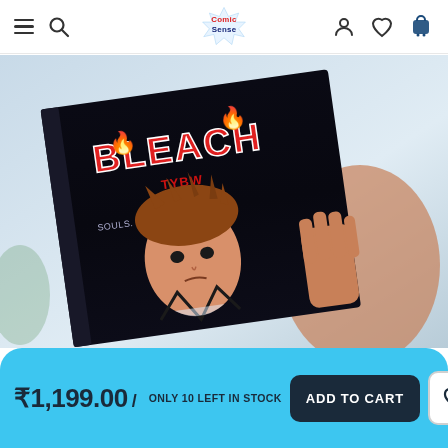ComicSense — navigation header with hamburger menu, search, logo, account, wishlist, and cart icons
[Figure (photo): A hand holding a copy of a Bleach manga/graphic novel omnibus edition. The cover shows the title 'BLEACH' in large letters with the subtitle partially visible, and a character (Ichigo Kurosaki) on the cover. The background is a pale blue/white gradient.]
₹1,199.00 / ONLY 10 LEFT IN STOCK
ADD TO CART